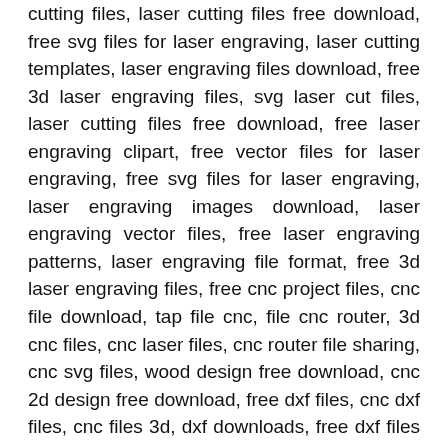cutting files, laser cutting files free download, free svg files for laser engraving, laser cutting templates, laser engraving files download, free 3d laser engraving files, svg laser cut files, laser cutting files free download, free laser engraving clipart, free vector files for laser engraving, free svg files for laser engraving, laser engraving images download, laser engraving vector files, free laser engraving patterns, laser engraving file format, free 3d laser engraving files, free cnc project files, cnc file download, tap file cnc, file cnc router, 3d cnc files, cnc laser files, cnc router file sharing, cnc svg files, wood design free download, cnc 2d design free download, free dxf files, cnc dxf files, cnc files 3d, dxf downloads, free dxf files download, 2d dxf files free download, cnc dxf files free download, free dxf files 3d, free alphabet dxf files, free dxf files for laser engraving, house dxf file download, dxf files for laser cutting, flex design cdr file free download,urdu cdr file download, panaflex cdr file free download, template design cdr file free download, cdr vector graphics free download, graphic design cdr file free